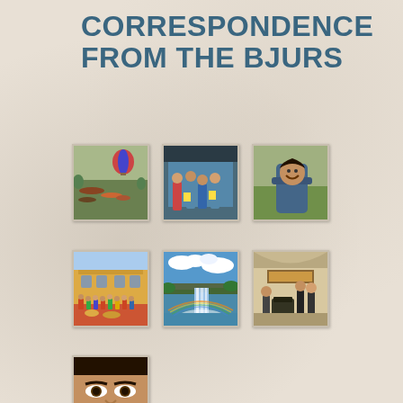CORRESPONDENCE FROM THE BJURS
[Figure (photo): Group of people lying and sitting on grass outdoors with a large colorful balloon in the background]
[Figure (photo): Students standing under a covered area, some holding yellow papers]
[Figure (photo): Young person smiling while seated in a chair outdoors]
[Figure (photo): Large group of people gathered in front of a yellow building]
[Figure (photo): Scenic waterfall with blue sky and clouds, rainbow visible]
[Figure (photo): Indoor scene with people standing near a piano in a room]
[Figure (photo): Partial view of a person's face, close-up]